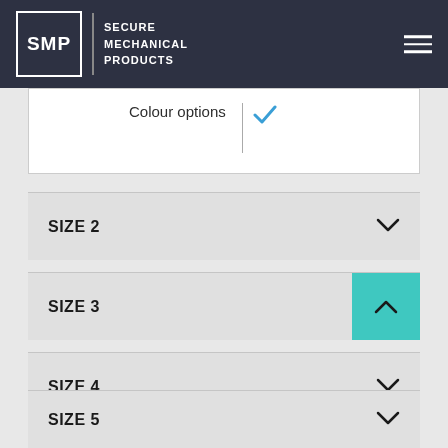SMP | SECURE MECHANICAL PRODUCTS
Colour options
SIZE 2
SIZE 3
SIZE 4
SIZE 5